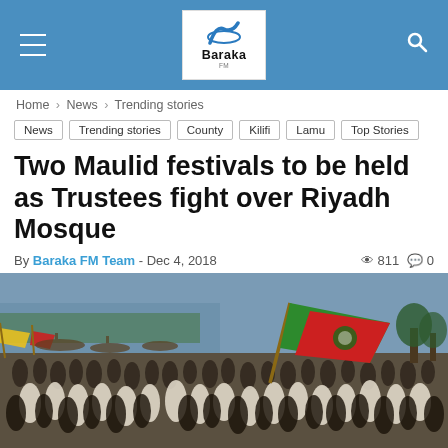Baraka FM — navigation header with logo, hamburger menu, and search icon
Home > News > Trending stories
News
Trending stories
County
Kilifi
Lamu
Top Stories
Two Maulid festivals to be held as Trustees fight over Riyadh Mosque
By Baraka FM Team - Dec 4, 2018   811   0
[Figure (photo): Large crowd of people at a coastal location, with a prominent green and red flag being waved, boats visible in the background on the water. People wearing white traditional attire.]